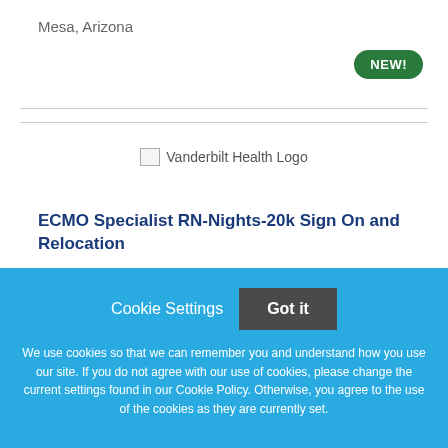Mesa, Arizona
[Figure (logo): Vanderbilt Health Logo placeholder image]
ECMO Specialist RN-Nights-20k Sign On and Relocation
Cookie Settings  Got it
We use cookies so that we can remember you and understand how you use our site. If you do not agree with our use of cookies, please change the current settings found in our Cookie Policy. Otherwise, you agree to the use of the cookies as they are currently set.